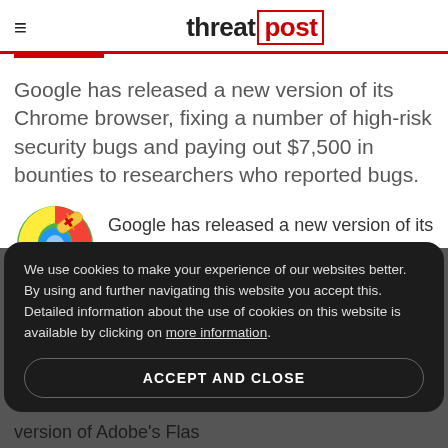threat post
Google has released a new version of its Chrome browser, fixing a number of high-risk security bugs and paying out $7,500 in bounties to researchers who reported bugs.
[Figure (illustration): Chrome browser logo with band-aid/cross overlay icon]
Google has released a new version of its
We use cookies to make your experience of our websites better. By using and further navigating this website you accept this. Detailed information about the use of cookies on this website is available by clicking on more information.
ACCEPT AND CLOSE
version of Adobe's Flas